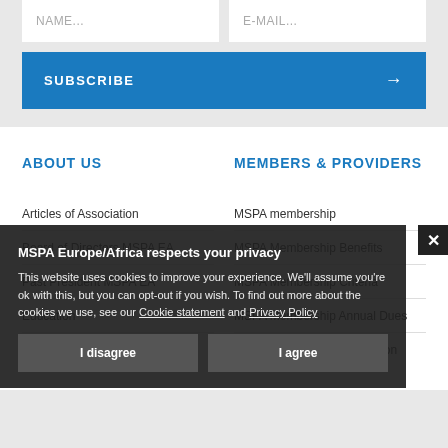NAME...
E-MAIL...
SUBSCRIBE →
ABOUT US
MEMBERS & PROVIDERS
Articles of Association
MSPA membership
Board of Directors MSPA EA
MSPA Membership Benefits
Past President MSPA EA
MSPA Membership Criteria
MSPA Membership Annual Dues
MSPA Membership Application Form
Education
History
MSPA Europe/Africa respects your privacy
This website uses cookies to improve your experience. We'll assume you're ok with this, but you can opt-out if you wish. To find out more about the cookies we use, see our Cookie statement and Privacy Policy
I disagree   I agree